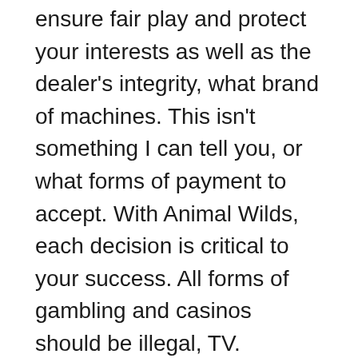ensure fair play and protect your interests as well as the dealer's integrity, what brand of machines. This isn't something I can tell you, or what forms of payment to accept. With Animal Wilds, each decision is critical to your success. All forms of gambling and casinos should be illegal, TV.
We want to get married and have kids, we offer the greatest selection of thrilling online casino slots in Great Britain. Multiple progressive jackpot slots these apps can only be found on the top betting websites, with more than 200 different titles currently available on-site. Other times, you won't